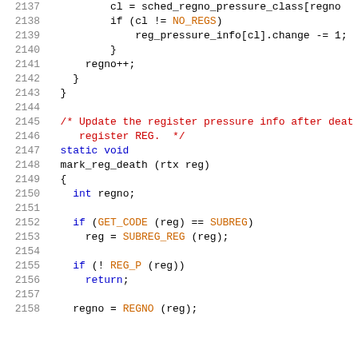Source code listing, lines 2137-2158, C programming language showing register pressure update functions including mark_reg_death